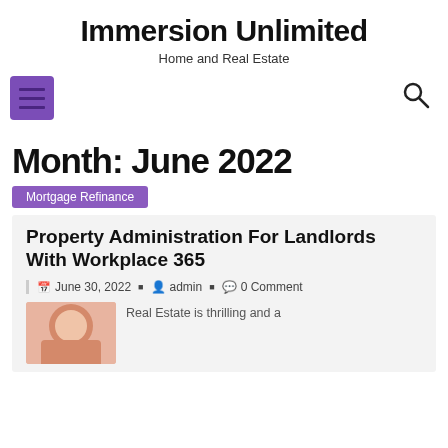Immersion Unlimited
Home and Real Estate
[Figure (other): Purple hamburger menu icon on left, search magnifier icon on right]
Month: June 2022
Mortgage Refinance
Property Administration For Landlords With Workplace 365
June 30, 2022  admin  0 Comment
Real Estate is thrilling and a